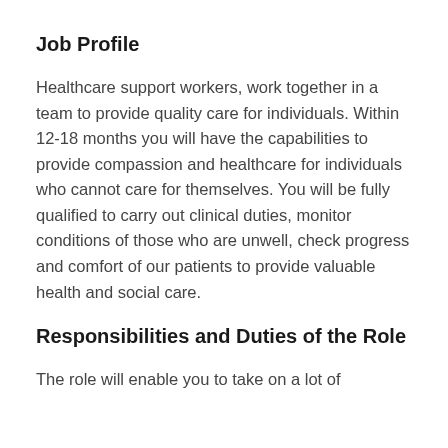Job Profile
Healthcare support workers, work together in a team to provide quality care for individuals. Within 12-18 months you will have the capabilities to provide compassion and healthcare for individuals who cannot care for themselves. You will be fully qualified to carry out clinical duties, monitor conditions of those who are unwell, check progress and comfort of our patients to provide valuable health and social care.
Responsibilities and Duties of the Role
The role will enable you to take on a lot of